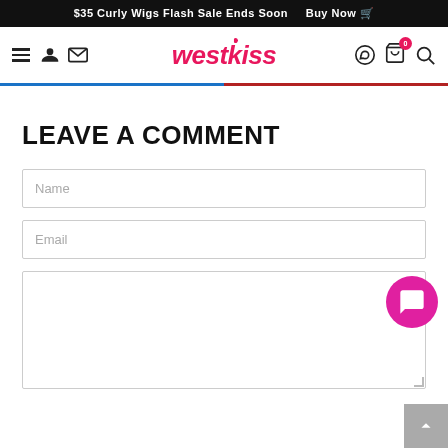$35 Curly Wigs Flash Sale Ends Soon   Buy Now 🛒
[Figure (screenshot): WestKiss website navigation bar with hamburger menu, user icon, envelope icon, westkiss logo in pink script, WhatsApp icon, cart icon with badge 0, and search icon]
LEAVE A COMMENT
Name (input field)
Email (input field)
Comment text area (empty)